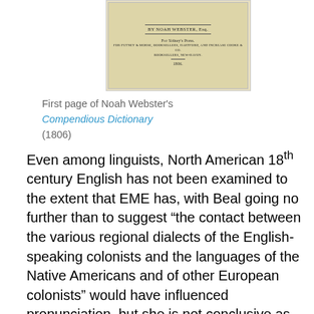[Figure (photo): Scanned image of the first page of Noah Webster's Compendious Dictionary (1806), showing old printed text on aged paper]
First page of Noah Webster's Compendious Dictionary (1806)
Even among linguists, North American 18th century English has not been examined to the extent that EME has, with Beal going no further than to suggest “the contact between the various regional dialects of the English-speaking colonists and the languages of the Native Americans and of other European colonists” would have influenced pronunciation, but she is not conclusive as to what extent.  Noah Webster in 1789 envisioned “a language in North America, as different from the future language of England, as the modern Dutch, Danish and